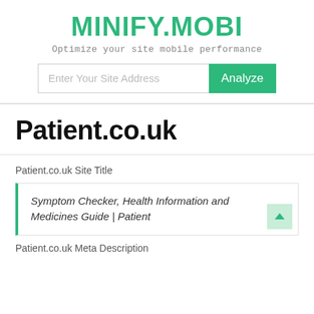MINIFY.MOBI
Optimize your site mobile performance
Enter Your Site Address
Analyze
Patient.co.uk
Patient.co.uk Site Title
Symptom Checker, Health Information and Medicines Guide | Patient
Patient.co.uk Meta Description